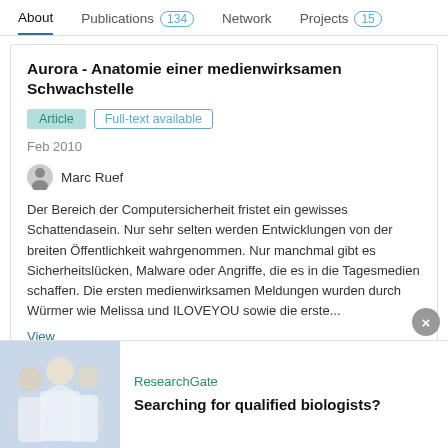About   Publications 134   Network   Projects 15
Aurora - Anatomie einer medienwirksamen Schwachstelle
Article   Full-text available
Feb 2010
Marc Ruef
Der Bereich der Computersicherheit fristet ein gewisses Schattendasein. Nur sehr selten werden Entwicklungen von der breiten Öffentlichkeit wahrgenommen. Nur manchmal gibt es Sicherheitslücken, Malware oder Angriffe, die es in die Tagesmedien schaffen. Die ersten medienwirksamen Meldungen wurden durch Würmer wie Melissa und ILOVEYOU sowie die erste...
View
Advertisement
ResearchGate
Searching for qualified biologists?